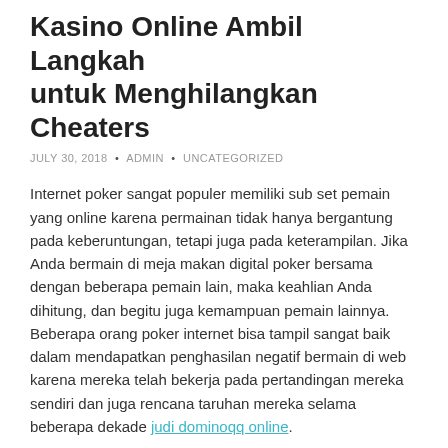Kasino Online Ambil Langkah untuk Menghilangkan Cheaters
JULY 30, 2018 • ADMIN • UNCATEGORIZED
Internet poker sangat populer memiliki sub set pemain yang online karena permainan tidak hanya bergantung pada keberuntungan, tetapi juga pada keterampilan. Jika Anda bermain di meja makan digital poker bersama dengan beberapa pemain lain, maka keahlian Anda dihitung, dan begitu juga kemampuan pemain lainnya. Beberapa orang poker internet bisa tampil sangat baik dalam mendapatkan penghasilan negatif bermain di web karena mereka telah bekerja pada pertandingan mereka sendiri dan juga rencana taruhan mereka selama beberapa dekade judi dominoqq online.
Tapi bayangkan jika salah satu pemain tambahan itu bukan manusia?